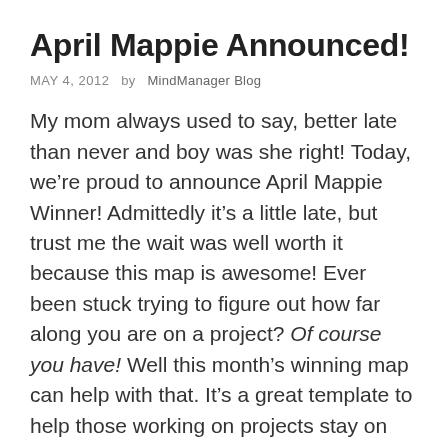April Mappie Announced!
MAY 4, 2012  by  MindManager Blog
My mom always used to say, better late than never and boy was she right! Today, we’re proud to announce April Mappie Winner! Admittedly it’s a little late, but trust me the wait was well worth it because this map is awesome! Ever been stuck trying to figure out how far along you are on a project? Of course you have! Well this month’s winning map can help with that. It’s a great template to help those working on projects stay on top of what’s most important.